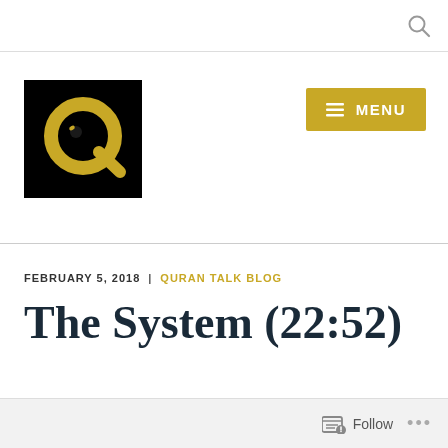[Figure (logo): Quran Talk Blog logo: black background with gold Q letter and small bird/duck silhouette]
≡ MENU
FEBRUARY 5, 2018 | QURAN TALK BLOG
The System (22:52)
Follow ...